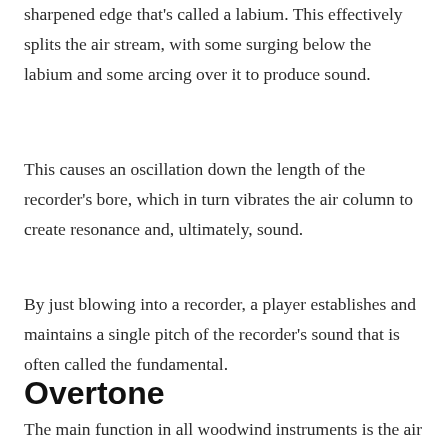sharpened edge that's called a labium. This effectively splits the air stream, with some surging below the labium and some arcing over it to produce sound.
This causes an oscillation down the length of the recorder's bore, which in turn vibrates the air column to create resonance and, ultimately, sound.
By just blowing into a recorder, a player establishes and maintains a single pitch of the recorder's sound that is often called the fundamental.
Overtone
The main function in all woodwind instruments is the air column inside them, which has different types of